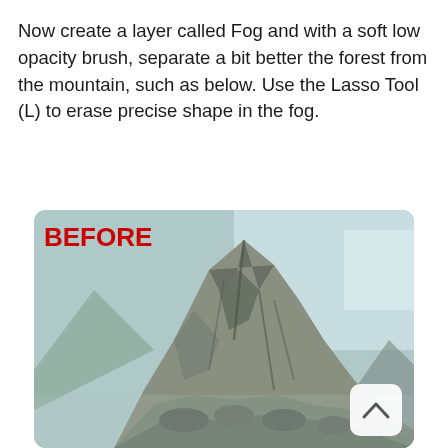Now create a layer called Fog and with a soft low opacity brush, separate a bit better the forest from the mountain, such as below. Use the Lasso Tool (L) to erase precise shape in the fog.
[Figure (photo): A before photo of a rocky mountain peak against a pale blue sky, with the red label 'BEFORE' in the upper-left corner, and a scroll-up button in the lower-right corner.]